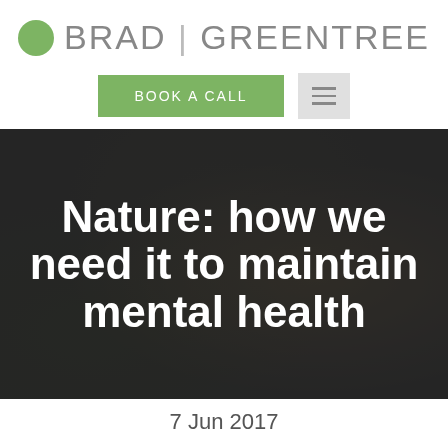[Figure (logo): Brad Greentree logo with green circle and grey text]
BOOK A CALL
Nature: how we need it to maintain mental health
7 Jun 2017